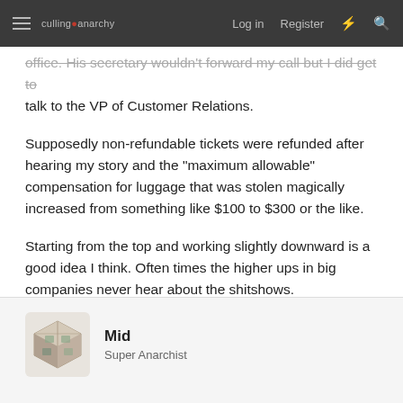culling anarchy | Log in | Register
office. His secretary wouldn't forward my call but I did get to talk to the VP of Customer Relations.
Supposedly non-refundable tickets were refunded after hearing my story and the "maximum allowable" compensation for luggage that was stolen magically increased from something like $100 to $300 or the like.
Starting from the top and working slightly downward is a good idea I think. Often times the higher ups in big companies never hear about the shitshows.
Mid
Super Anarchist
Jan 15, 2022
#10